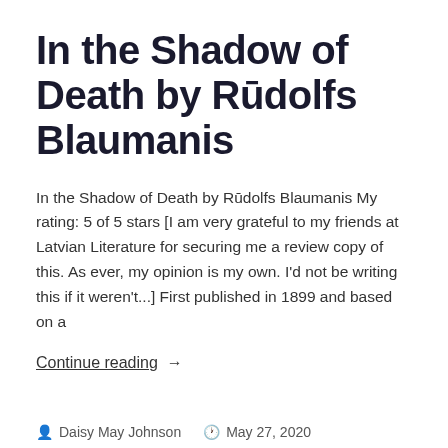In the Shadow of Death by Rūdolfs Blaumanis
In the Shadow of Death by Rūdolfs Blaumanis My rating: 5 of 5 stars [I am very grateful to my friends at Latvian Literature for securing me a review copy of this. As ever, my opinion is my own. I'd not be writing this if it weren't...] First published in 1899 and based on a
Continue reading  →
Daisy May Johnson   May 27, 2020
All The Other Stuff...